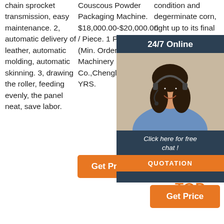chain sprocket transmission, easy maintenance. 2, automatic delivery of leather, automatic molding, automatic skinning. 3, drawing the roller, feeding evenly, the panel neat, save labor.
Couscous Powder Packaging Machine. $18,000.00-$20,000.00 / Piece. 1 Piece (Min. Order) Top Y Machinery Co.,Chengli CN 10 YRS.
condition and degerminate corn, right up to its final 90... in pr... Pr... a us... to... nachos and snack foods.
[Figure (photo): Customer service agent with headset, smiling, overlaid on a dark blue panel with '24/7 Online' text and chat/quotation buttons]
24/7 Online
Click here for free chat !
QUOTATION
Get Price
[Figure (logo): TOP badge logo with orange dots]
Get Price